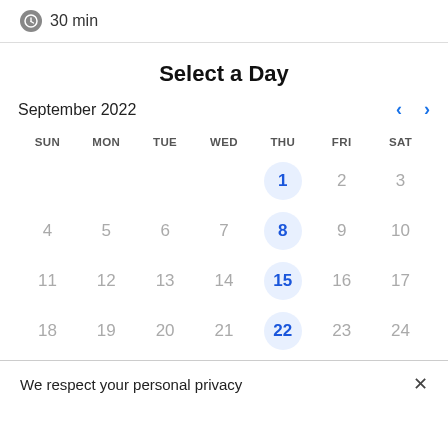30 min
Select a Day
September 2022
| SUN | MON | TUE | WED | THU | FRI | SAT |
| --- | --- | --- | --- | --- | --- | --- |
|  |  |  |  | 1 | 2 | 3 |
| 4 | 5 | 6 | 7 | 8 | 9 | 10 |
| 11 | 12 | 13 | 14 | 15 | 16 | 17 |
| 18 | 19 | 20 | 21 | 22 | 23 | 24 |
We respect your personal privacy